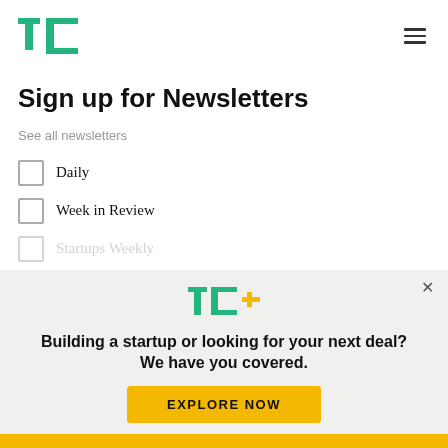TechCrunch logo and hamburger menu
Sign up for Newsletters
See all newsletters
Daily
Week in Review
Startups Weekly
[Figure (logo): TechCrunch TC+ modal overlay with text: Building a startup or looking for your next deal? We have you covered. EXPLORE NOW button.]